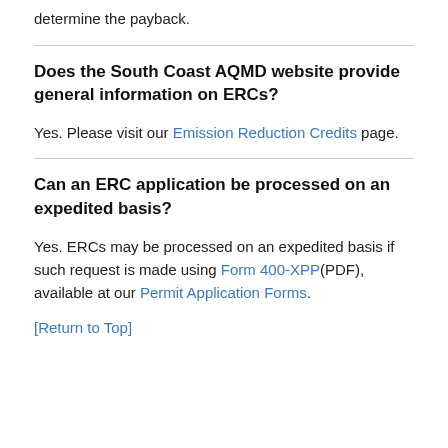determine the payback.
Does the South Coast AQMD website provide general information on ERCs?
Yes. Please visit our Emission Reduction Credits page.
Can an ERC application be processed on an expedited basis?
Yes. ERCs may be processed on an expedited basis if such request is made using Form 400-XPP(PDF), available at our Permit Application Forms.
[Return to Top]